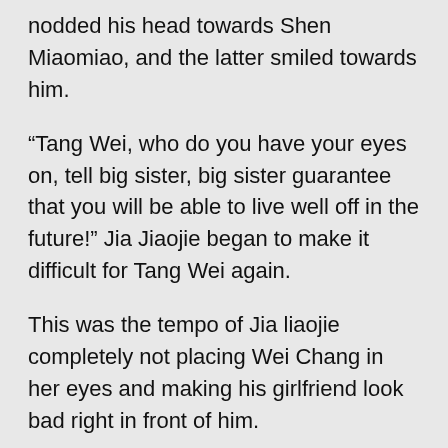nodded his head towards Shen Miaomiao, and the latter smiled towards him.
“Tang Wei, who do you have your eyes on, tell big sister, big sister guarantee that you will be able to live well off in the future!” Jia Jiaojie began to make it difficult for Tang Wei again.
This was the tempo of Jia liaojie completely not placing Wei Chang in her eyes and making his girlfriend look bad right in front of him.
To say it more unpleasantly, right now, Jia Jiaojie was acting as a pimp, the three young masters were the customers, and Tang Wei was the